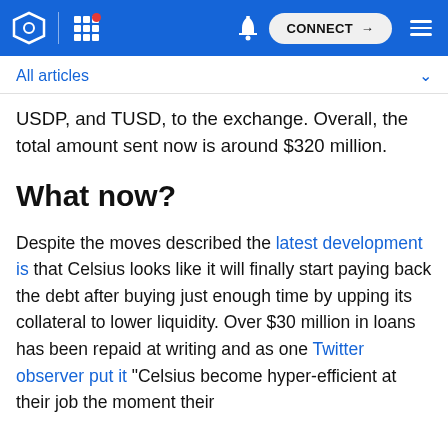CONNECT
All articles
USDP, and TUSD, to the exchange. Overall, the total amount sent now is around $320 million.
What now?
Despite the moves described the latest development is that Celsius looks like it will finally start paying back the debt after buying just enough time by upping its collateral to lower liquidity. Over $30 million in loans has been repaid at writing and as one Twitter observer put it “Celsius become hyper-efficient at their job the moment their